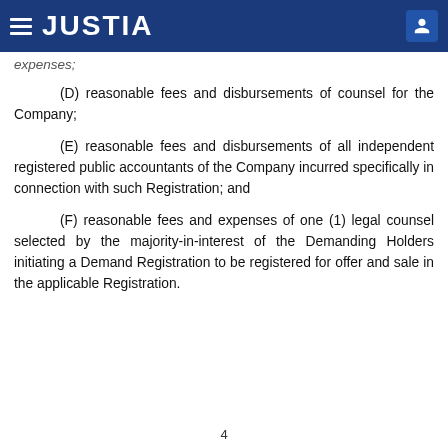JUSTIA
expenses;
(D) reasonable fees and disbursements of counsel for the Company;
(E) reasonable fees and disbursements of all independent registered public accountants of the Company incurred specifically in connection with such Registration; and
(F) reasonable fees and expenses of one (1) legal counsel selected by the majority-in-interest of the Demanding Holders initiating a Demand Registration to be registered for offer and sale in the applicable Registration.
4